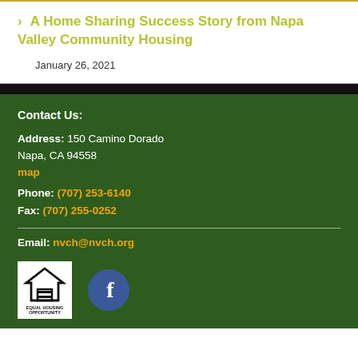> A Home Sharing Success Story from Napa Valley Community Housing
January 26, 2021
Contact Us:
Address: 150 Camino Dorado
Napa, CA 94558
map
Phone: (707) 253-6140
Fax: (707) 255-0252
Email: nvch@nvch.org
[Figure (logo): Equal Housing Opportunity logo with house icon and equal sign]
[Figure (logo): Facebook social media icon - blue circle with white f]